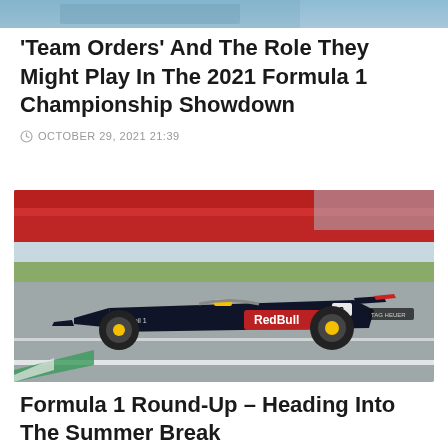[Figure (photo): Partial top image of a racing-related scene, cropped at top of page]
'Team Orders' And The Role They Might Play In The 2021 Formula 1 Championship Showdown
OCTOBER 29, 2021 21:39
[Figure (photo): Red Bull Racing Formula 1 car number 33 on track at Silverstone circuit, with red barriers and green grass visible in background]
Formula 1 Round-Up – Heading Into The Summer Break